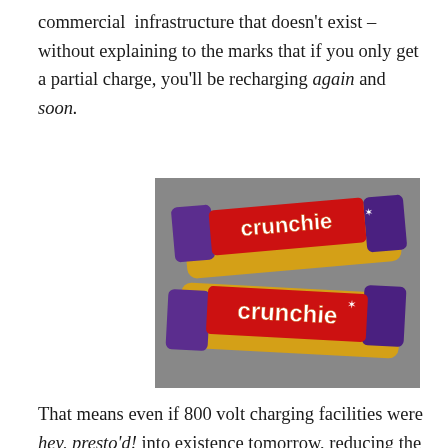commercial infrastructure that doesn't exist – without explaining to the marks that if you only get a partial charge, you'll be recharging again and soon.
[Figure (photo): Two Crunchie chocolate bars in gold and purple wrappers on a grey background]
That means even if 800 volt charging facilities were hey, presto'd! into existence tomorrow, reducing the